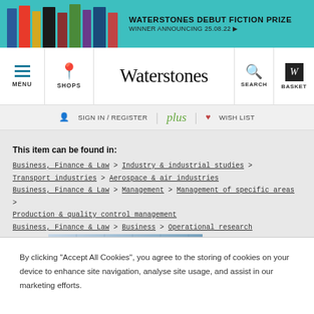[Figure (screenshot): Waterstones website banner advertising the Waterstones Debut Fiction Prize, winner announcing 25.08.22]
MENU  SHOPS  Waterstones  SEARCH  BASKET
SIGN IN / REGISTER | plus | WISH LIST
This item can be found in:
Business, Finance & Law > Industry & industrial studies > Transport industries > Aerospace & air industries
Business, Finance & Law > Management > Management of specific areas > Production & quality control management
Business, Finance & Law > Business > Operational research
[Figure (photo): Book cover showing 'Managing Aviation Operations' with a red bar and architectural grid/building imagery]
By clicking "Accept All Cookies", you agree to the storing of cookies on your device to enhance site navigation, analyse site usage, and assist in our marketing efforts.